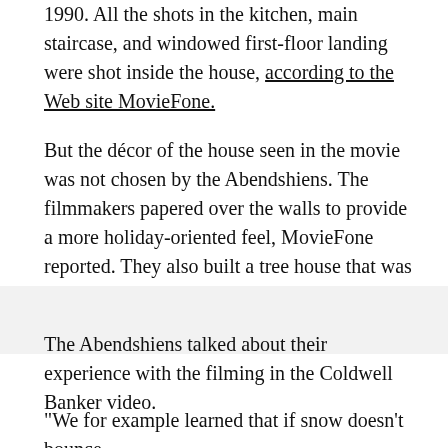1990. All the shots in the kitchen, main staircase, and windowed first-floor landing were shot inside the house, according to the Web site MovieFone.
But the décor of the house seen in the movie was not chosen by the Abendshiens. The filmmakers papered over the walls to provide a more holiday-oriented feel, MovieFone reported. They also built a tree house that was torn down after the filming, the Web site reported.
The Abendshiens talked about their experience with the filming in the Coldwell Banker video.
"We for example learned that if snow doesn't bounce